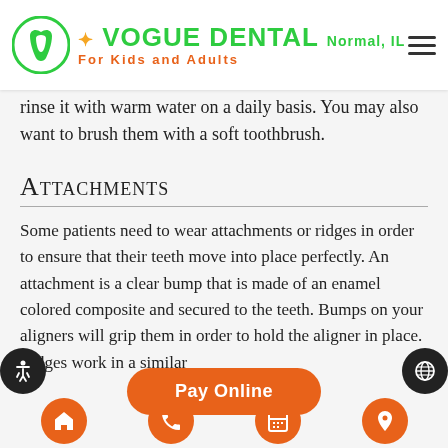Vogue Dental Normal, IL — For Kids and Adults
rinse it with warm water on a daily basis. You may also want to brush them with a soft toothbrush.
Attachments
Some patients need to wear attachments or ridges in order to ensure that their teeth move into place perfectly. An attachment is a clear bump that is made of an enamel colored composite and secured to the teeth. Bumps on your aligners will grip them in order to hold the aligner in place. Ridges work in a similar
[Figure (other): Pay Online orange pill-shaped button]
[Figure (other): Bottom navigation row with four orange circle icons: home, phone, calendar, location pin]